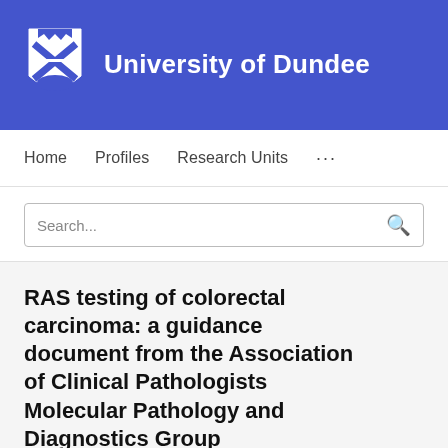[Figure (logo): University of Dundee logo with shield/crest and name on blue banner]
Home   Profiles   Research Units   ...
Search...
RAS testing of colorectal carcinoma: a guidance document from the Association of Clinical Pathologists Molecular Pathology and Diagnostics Group
Newton A. C. S. Wong (Lead / Corresponding author), David Gonzalez (Lead / Corresponding author), Mo...